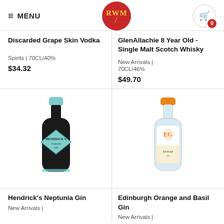MENU | RWM | Cart 0
Discarded Grape Skin Vodka
Spirits | 70CL/40%
$34.32
GlenAllachie 8 Year Old - Single Malt Scotch Whisky
New Arrivals | 70CL/46%
$49.70
[Figure (photo): Hendrick's Neptunia Gin bottle - dark black bottle with teal diamond label]
[Figure (photo): Edinburgh Orange and Basil Gin bottle - clear bottle with colorful label and orange cap]
Hendrick's Neptunia Gin
New Arrivals |
Edinburgh Orange and Basil Gin
New Arrivals |